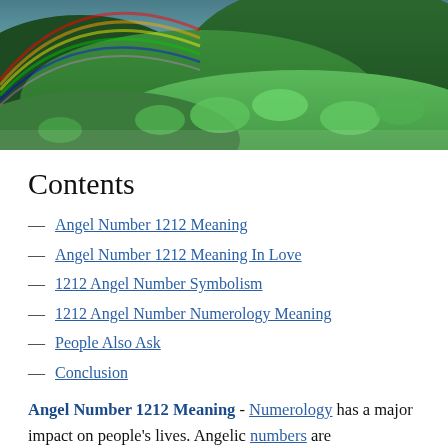[Figure (photo): Aerial photo of lush green tropical forest hillside with rainbow arc visible in upper left corner and misty valley below]
Contents
Angel Number 1212 Meaning
Angel Number 1212 Meaning In Love
1212 Angel Number Symbolism
1212 Angel Number Numerology Meaning
People Also Ask
Conclusion
Angel Number 1212 Meaning - Numerology has a major impact on people's lives. Angelic numbers are